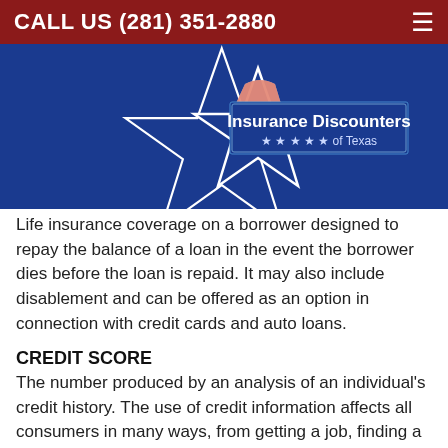CALL US (281) 351-2880
[Figure (logo): Insurance Discounters of Texas logo — white star outline on blue background with Texas map silhouette in red, white, and blue; text reads 'Insurance Discounters of Texas']
Life insurance coverage on a borrower designed to repay the balance of a loan in the event the borrower dies before the loan is repaid. It may also include disablement and can be offered as an option in connection with credit cards and auto loans.
CREDIT SCORE
The number produced by an analysis of an individual's credit history. The use of credit information affects all consumers in many ways, from getting a job, finding a place to live, securing a loan, getting a telephone, and buying insurance. Credit history is routinely reviewed by insurers before issuing a